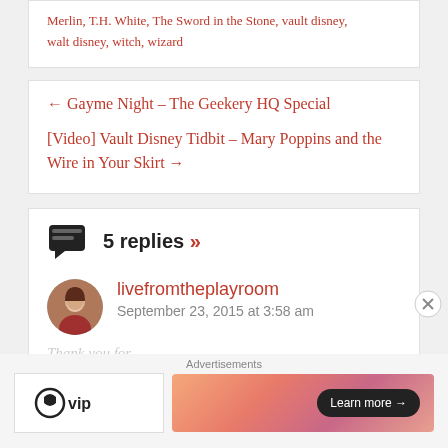Merlin, T.H. White, The Sword in the Stone, vault disney, walt disney, witch, wizard
← Gayme Night – The Geekery HQ Special
[Video] Vault Disney Tidbit – Mary Poppins and the Wire in Your Skirt →
5 replies »
livefromtheplayroom
September 23, 2015 at 3:58 am
Advertisements
Learn more →